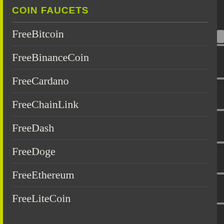COIN FAUCETS
FreeBitcoin
FreeBinanceCoin
FreeCardano
FreeChainLink
FreeDash
FreeDoge
FreeEthereum
FreeLiteCoin